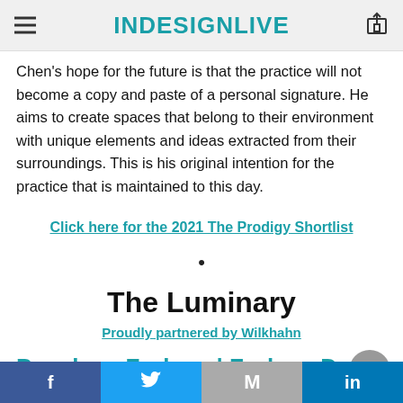INDESIGNLIVE
Chen's hope for the future is that the practice will not become a copy and paste of a personal signature. He aims to create spaces that belong to their environment with unique elements and ideas extracted from their surroundings. This is his original intention for the practice that is maintained to this day.
Click here for the 2021 The Prodigy Shortlist
•
The Luminary
Proudly partnered by Wilkhahn
Penelene Forlane | Forlane Design
f  Twitter  M  in